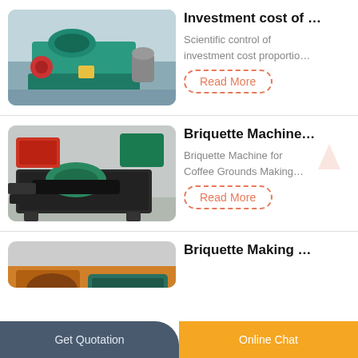[Figure (photo): Green briquette press machine in a factory/warehouse setting]
Investment cost of …
Scientific control of investment cost proportio…
Read More
[Figure (photo): Black briquette machine for coffee grounds in a factory]
Briquette Machine…
Briquette Machine for Coffee Grounds Making…
Read More
[Figure (photo): Industrial briquette making machine, partially visible]
Briquette Making …
Get Quotation | Online Chat